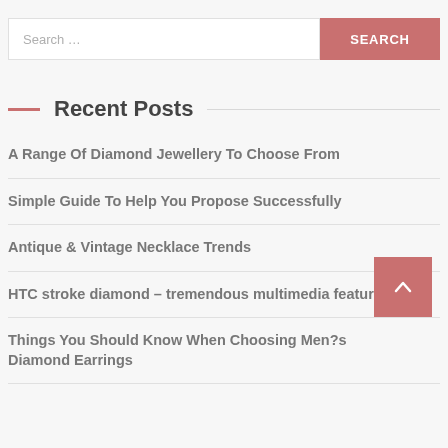Search …
Recent Posts
A Range Of Diamond Jewellery To Choose From
Simple Guide To Help You Propose Successfully
Antique & Vintage Necklace Trends
HTC stroke diamond – tremendous multimedia features!
Things You Should Know When Choosing Men?s Diamond Earrings